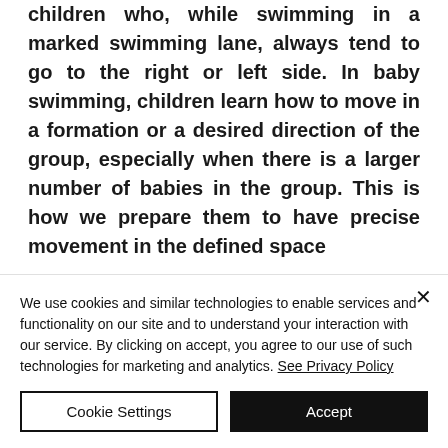children who, while swimming in a marked swimming lane, always tend to go to the right or left side. In baby swimming, children learn how to move in a formation or a desired direction of the group, especially when there is a larger number of babies in the group. This is how we prepare them to have precise movement in the defined space
We use cookies and similar technologies to enable services and functionality on our site and to understand your interaction with our service. By clicking on accept, you agree to our use of such technologies for marketing and analytics. See Privacy Policy